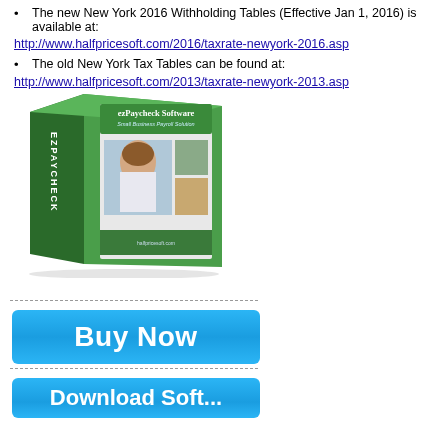The new New York 2016 Withholding Tables (Effective Jan 1, 2016) is available at:
http://www.halfpricesoft.com/2016/taxrate-newyork-2016.asp
The old New York Tax Tables can be found at:
http://www.halfpricesoft.com/2013/taxrate-newyork-2013.asp
[Figure (photo): ezPaycheck Software box - Small Business Payroll Solution product image showing the green software box with photos of professionals and the halfpricesoft.com branding]
[Figure (illustration): Buy Now button - bright blue gradient button with white bold text reading 'Buy Now']
[Figure (illustration): Download Software button - bright blue gradient button with white bold text (partially visible at bottom)]